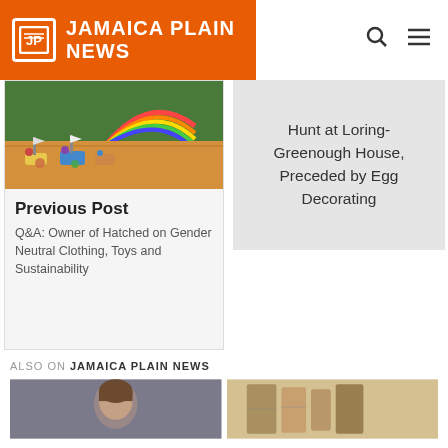Jamaica Plain News
[Figure (photo): Wooden toy boats with colorful figurines on a wooden surface with rainbow decoration in background]
Previous Post
Q&A: Owner of Hatched on Gender Neutral Clothing, Toys and Sustainability
Hunt at Loring-Greenough House, Preceded by Egg Decorating
ALSO ON JAMAICA PLAIN NEWS
[Figure (photo): Headshot of a person with brown hair]
[Figure (photo): Art or decorative image with beige tones]